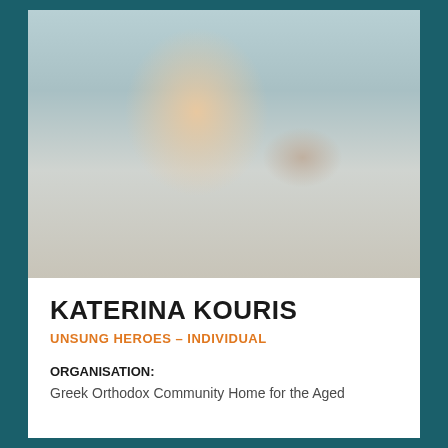[Figure (photo): Portrait photo of Katerina Kouris, a woman smiling, wearing a floral strapless top, in an indoor setting]
KATERINA KOURIS
UNSUNG HEROES – INDIVIDUAL
ORGANISATION: Greek Orthodox Community Home for the Aged